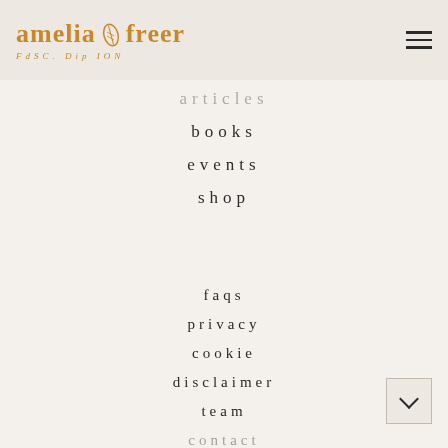[Figure (logo): Amelia Freer logo with leaf emblem, text reads 'amelia freer' in golden/amber color with subtitle 'FdSC. Dip ION']
articles
books
events
shop
faqs
privacy
cookie
disclaimer
team
contact